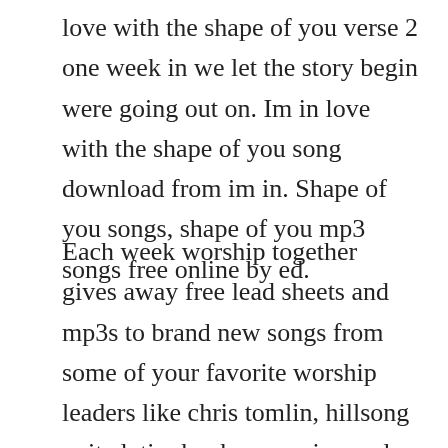love with the shape of you verse 2 one week in we let the story begin were going out on. Im in love with the shape of you song download from im in. Shape of you songs, shape of you mp3 songs free online by ed.
Each week worship together gives away free lead sheets and mp3s to brand new songs from some of your favorite worship leaders like chris tomlin, hillsong united, tim hughes, passion and brenton brown plus new voices you ll love. Grab on my waist and put that body on me come on now, follow my lead